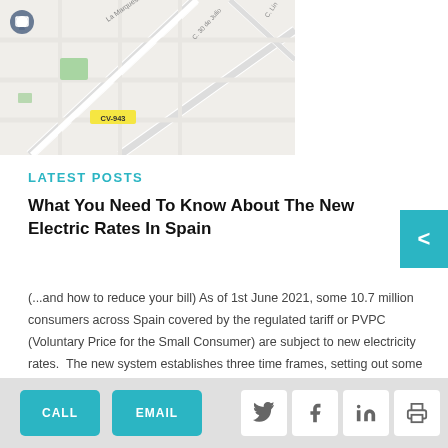[Figure (map): Street map showing La Marquesa area with roads including C. 30 de Julio, CV-943 road label, and a location pin marker]
LATEST POSTS
What You Need To Know About The New Electric Rates In Spain
(...and how to reduce your bill) As of 1st June 2021, some 10.7 million consumers across Spain covered by the regulated tariff or PVPC (Voluntary Price for the Small Consumer) are subject to new electricity rates.  The new system establishes three time frames, setting out some cheaper, and some more expensive times of day to [...]
CALL | EMAIL | Twitter | Facebook | LinkedIn | Print